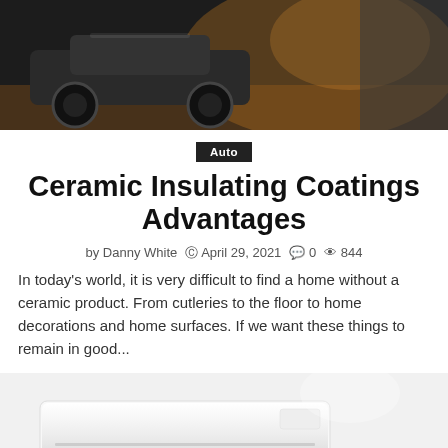[Figure (photo): Top banner photo of a car in a garage/workshop setting with warm orange-brown lighting]
Auto
Ceramic Insulating Coatings Advantages
by Danny White  © April 29, 2021  ☐ 0  👁 844
In today's world, it is very difficult to find a home without a ceramic product. From cutleries to the floor to home decorations and home surfaces. If we want these things to remain in good...
[Figure (photo): Bottom photo of a white air conditioning unit or similar white electronic device, blurred/soft focus]